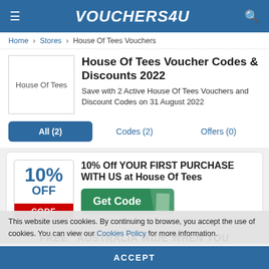VOUCHERS4U
Home > Stores > House Of Tees Vouchers
House Of Tees Voucher Codes & Discounts 2022
Save with 2 Active House Of Tees Vouchers and Discount Codes on 31 August 2022
All (2)   Codes (2)   Offers (0)
10% Off YOUR FIRST PURCHASE WITH US at House Of Tees
Get Code
CODE
This website uses cookies. By continuing to browse, you accept the use of cookies. You can view our Cookies Policy for more information.
ACCEPT
FREE AUSTRALIA WIDE WHEN YOU